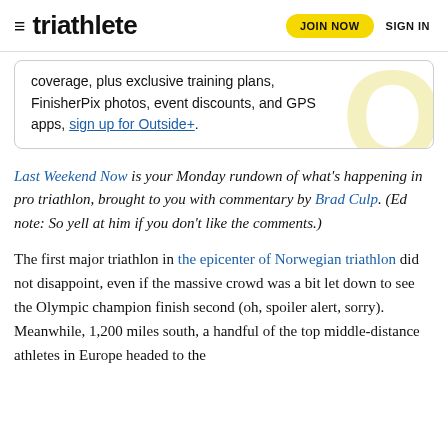triathlete  JOIN NOW  SIGN IN
coverage, plus exclusive training plans, FinisherPix photos, event discounts, and GPS apps, sign up for Outside+.
Last Weekend Now is your Monday rundown of what's happening in pro triathlon, brought to you with commentary by Brad Culp. (Ed note: So yell at him if you don't like the comments.)
The first major triathlon in the epicenter of Norwegian triathlon did not disappoint, even if the massive crowd was a bit let down to see the Olympic champion finish second (oh, spoiler alert, sorry). Meanwhile, 1,200 miles south, a handful of the top middle-distance athletes in Europe headed to the